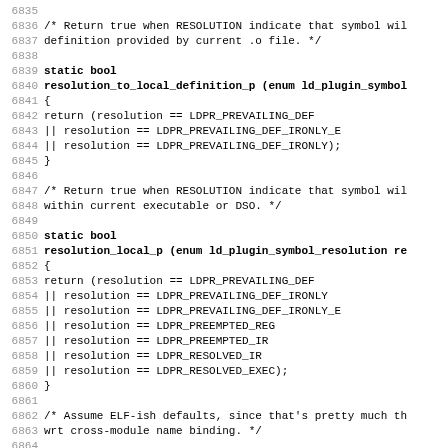Source code listing, lines 6835-6866, C/C++ function definitions for resolution_to_local_definition_p, resolution_local_p, and default_binds_local_p